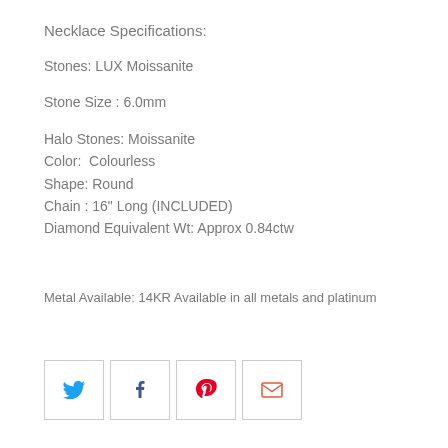Necklace Specifications:
Stones: LUX Moissanite
Stone Size : 6.0mm
Halo Stones: Moissanite
Color:  Colourless
Shape: Round
Chain : 16" Long (INCLUDED)
Diamond Equivalent Wt: Approx 0.84ctw
Metal Available: 14KR Available in all metals and platinum
[Figure (infographic): Social share icons: Twitter (blue bird), Facebook (dark blue f), Pinterest (red P), Email (orange/red envelope), each in a square outlined box]